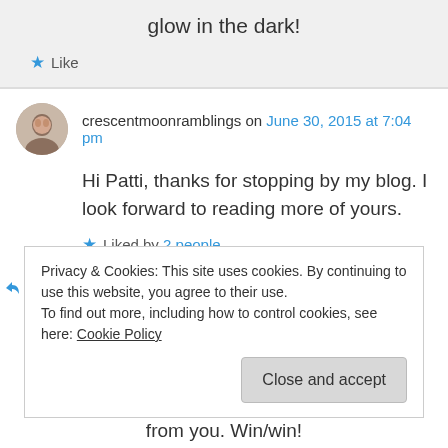glow in the dark!
★ Like
crescentmoonramblings on June 30, 2015 at 7:04 pm
Hi Patti, thanks for stopping by my blog. I look forward to reading more of yours.
★ Liked by 2 people
↪ Reply
Privacy & Cookies: This site uses cookies. By continuing to use this website, you agree to their use. To find out more, including how to control cookies, see here: Cookie Policy
Close and accept
from you. Win/win!